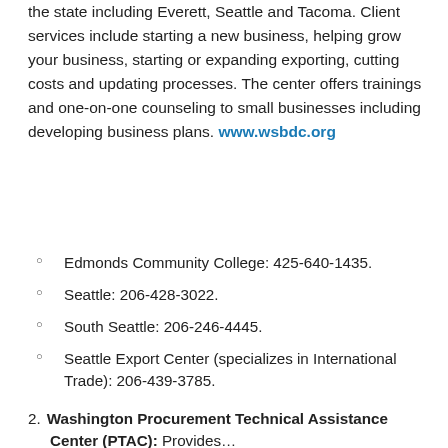the state including Everett, Seattle and Tacoma. Client services include starting a new business, helping grow your business, starting or expanding exporting, cutting costs and updating processes. The center offers trainings and one-on-one counseling to small businesses including developing business plans. www.wsbdc.org
Edmonds Community College: 425-640-1435.
Seattle: 206-428-3022.
South Seattle: 206-246-4445.
Seattle Export Center (specializes in International Trade): 206-439-3785.
2. Washington Procurement Technical Assistance Center (PTAC):